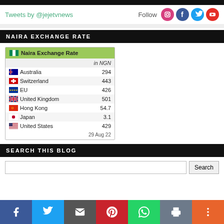Tweets by @jejetvnews
Follow
NAIRA EXCHANGE RATE
|  | Naira Exchange Rate | in NGN |
| --- | --- | --- |
| Australia | 294 |
| Switzerland | 443 |
| EU | 426 |
| United Kingdom | 501 |
| Hong Kong | 54.7 |
| Japan | 3.1 |
| United States | 429 |
| 29 Aug 22 |  |
SEARCH THIS BLOG
Search